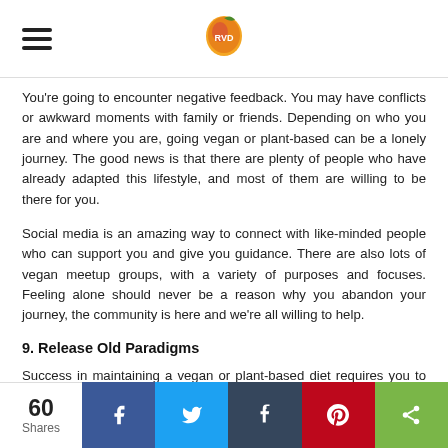RVD logo / site header with hamburger menu
You're going to encounter negative feedback. You may have conflicts or awkward moments with family or friends. Depending on who you are and where you are, going vegan or plant-based can be a lonely journey. The good news is that there are plenty of people who have already adapted this lifestyle, and most of them are willing to be there for you.
Social media is an amazing way to connect with like-minded people who can support you and give you guidance. There are also lots of vegan meetup groups, with a variety of purposes and focuses. Feeling alone should never be a reason why you abandon your journey, the community is here and we're all willing to help.
9. Release Old Paradigms
Success in maintaining a vegan or plant-based diet requires you to reject old ways of thinking and broaden your perspective. Here are a
60 Shares | Facebook | Twitter | Tumblr | Pinterest | Share